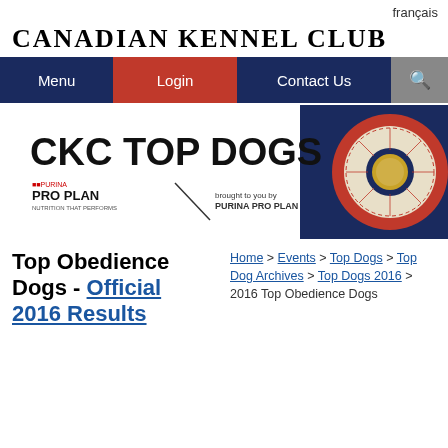français
CANADIAN KENNEL CLUB
Menu | Login | Contact Us | [search]
[Figure (illustration): CKC Top Dogs banner with Purina Pro Plan logo and a red/white/blue rosette ribbon on blue background]
Top Obedience Dogs - Official 2016 Results
Home > Events > Top Dogs > Top Dog Archives > Top Dogs 2016 > 2016 Top Obedience Dogs